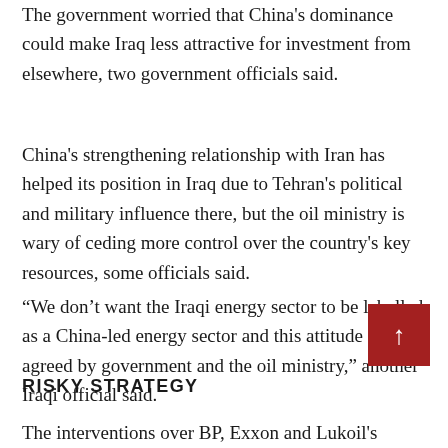The government worried that China's dominance could make Iraq less attractive for investment from elsewhere, two government officials said.
China's strengthening relationship with Iran has helped its position in Iraq due to Tehran's political and military influence there, but the oil ministry is wary of ceding more control over the country's key resources, some officials said.
“We don’t want the Iraqi energy sector to be labelled as a China-led energy sector and this attitude is agreed by government and the oil ministry,” another Iraqi official said.
RISKY STRATEGY
The interventions over BP, Exxon and Lukoil's